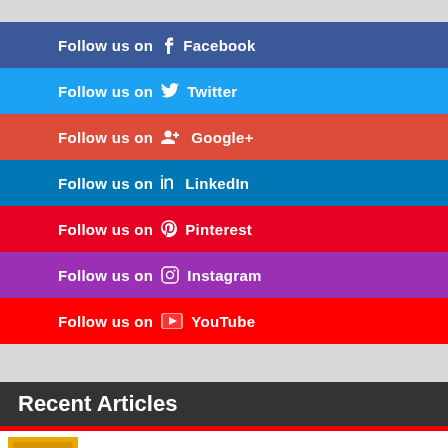Follow us on Facebook
Follow us on Twitter
Follow us on Google+
Follow us on LinkedIn
Follow us on Pinterest
Follow us on Instagram
Follow us on YouTube
Recent Articles
Wales Comic Con Live!: Genre streaming event